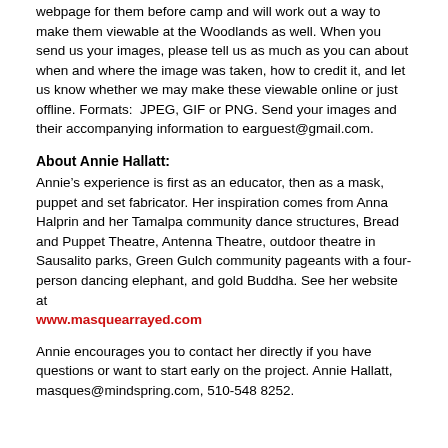webpage for them before camp and will work out a way to make them viewable at the Woodlands as well. When you send us your images, please tell us as much as you can about when and where the image was taken, how to credit it, and let us know whether we may make these viewable online or just offline. Formats:  JPEG, GIF or PNG. Send your images and their accompanying information to earguest@gmail.com.
About Annie Hallatt:
Annie’s experience is first as an educator, then as a mask, puppet and set fabricator. Her inspiration comes from Anna Halprin and her Tamalpa community dance structures, Bread and Puppet Theatre, Antenna Theatre, outdoor theatre in Sausalito parks, Green Gulch community pageants with a four-person dancing elephant, and gold Buddha. See her website at www.masquearrayed.com
Annie encourages you to contact her directly if you have questions or want to start early on the project. Annie Hallatt, masques@mindspring.com, 510-548 8252.